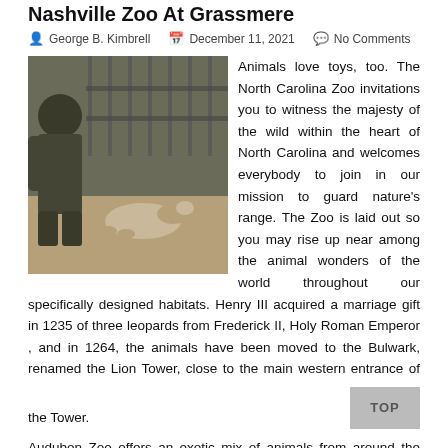Nashville Zoo At Grassmere
George B. Kimbrell   December 11, 2021   No Comments
[Figure (photo): A zookeeper or visitor crouching near a cage with a small animal (possibly a kangaroo or wallaby) lying on the ground near the bars.]
Animals love toys, too. The North Carolina Zoo invitations you to witness the majesty of the wild within the heart of North Carolina and welcomes everybody to join in our mission to guard nature's range. The Zoo is laid out so you may rise up near among the animal wonders of the world throughout our specifically designed habitats. Henry III acquired a marriage gift in 1235 of three leopards from Frederick II, Holy Roman Emperor , and in 1264, the animals have been moved to the Bulwark, renamed the Lion Tower, close to the main western entrance of the Tower.
Audubon Zoo offers an exotic mix of animals from around the globe, partaking academic applications, animal encounters and luxurious